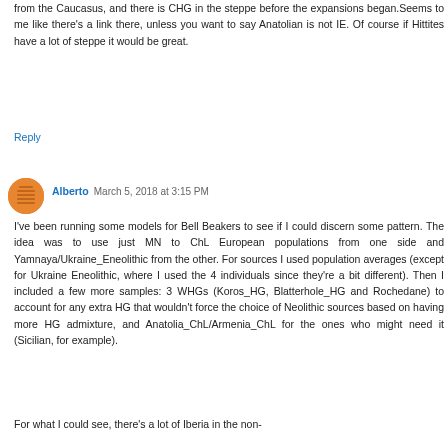from the Caucasus, and there is CHG in the steppe before the expansions began.Seems to me like there's a link there, unless you want to say Anatolian is not IE. Of course if Hittites have a lot of steppe it would be great.
Reply
Alberto  March 5, 2018 at 3:15 PM
I've been running some models for Bell Beakers to see if I could discern some pattern. The idea was to use just MN to ChL European populations from one side and Yamnaya/Ukraine_Eneolithic from the other. For sources I used population averages (except for Ukraine Eneolithic, where I used the 4 individuals since they're a bit different). Then I included a few more samples: 3 WHGs (Koros_HG, Blatterhole_HG and Rochedane) to account for any extra HG that wouldn't force the choice of Neolithic sources based on having more HG admixture, and Anatolia_ChL/Armenia_ChL for the ones who might need it (Sicilian, for example).
For what I could see, there's a lot of Iberia in the non-